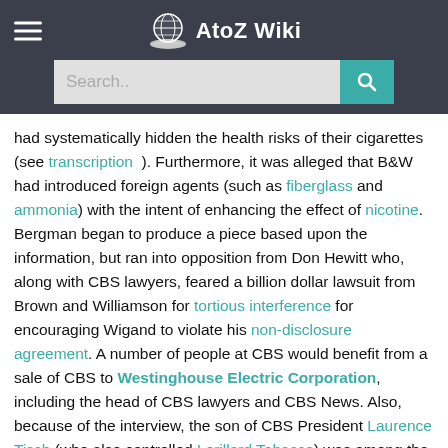AtoZ Wiki
had systematically hidden the health risks of their cigarettes (see transcription ). Furthermore, it was alleged that B&W had introduced foreign agents (such as fiberglass and ammonia) with the intent of enhancing the effect of nicotine. Bergman began to produce a piece based upon the information, but ran into opposition from Don Hewitt who, along with CBS lawyers, feared a billion dollar lawsuit from Brown and Williamson for tortious interference for encouraging Wigand to violate his non-disclosure agreement. A number of people at CBS would benefit from a sale of CBS to Westinghouse Electric Corporation, including the head of CBS lawyers and CBS News. Also, because of the interview, the son of CBS President Laurence Tisch (who also controlled Lorillard Tobacco) was among the people from the big tobacco companies at risk of being caught having committed perjury. Due to Hewitt's hesitation, The Wall Street Journal